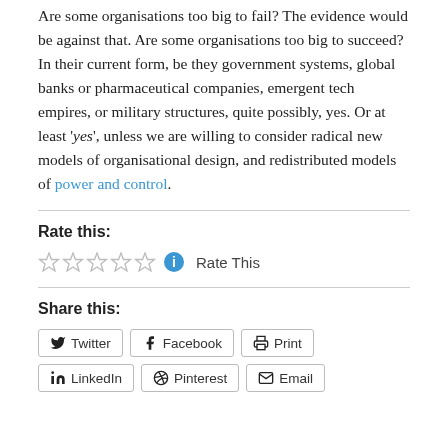Are some organisations too big to fail? The evidence would be against that. Are some organisations too big to succeed? In their current form, be they government systems, global banks or pharmaceutical companies, emergent tech empires, or military structures, quite possibly, yes. Or at least 'yes', unless we are willing to consider radical new models of organisational design, and redistributed models of power and control.
Rate this:
Rate This
Share this:
Twitter  Facebook  Print  LinkedIn  Pinterest  Email